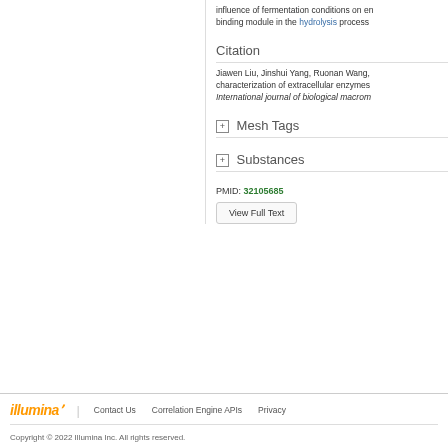influence of fermentation conditions on en binding module in the hydrolysis process
Citation
Jiawen Liu, Jinshui Yang, Ruonan Wang, characterization of extracellular enzymes International journal of biological macromolecules
Mesh Tags
Substances
PMID: 32105685
View Full Text
illumina | Contact Us  Correlation Engine APIs  Privacy
Copyright © 2022 Illumina Inc. All rights reserved.